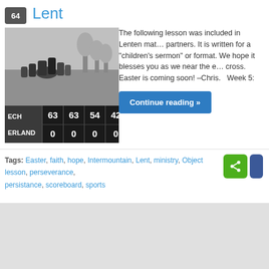Lent
[Figure (photo): Black and white photo of a football game action shot, overlaid with a scoreboard showing ECH 63 63 54 42 and ERLAND 0 0 0 0]
The following lesson was included in Lenten materials sent to our partners. It is written for a "children's sermon" or object lesson format. We hope it blesses you as we near the end of the journey to the cross. Easter is coming soon! –Chris.   Week 5:
Continue reading »
Tags: Easter, faith, hope, Intermountain, Lent, ministry, Object lesson, perseverance, persistance, scoreboard, sports